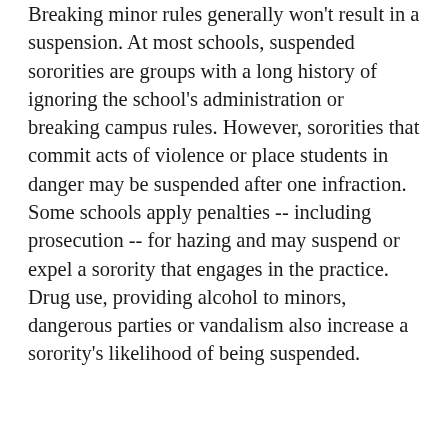Breaking minor rules generally won't result in a suspension. At most schools, suspended sororities are groups with a long history of ignoring the school's administration or breaking campus rules. However, sororities that commit acts of violence or place students in danger may be suspended after one infraction. Some schools apply penalties -- including prosecution -- for hazing and may suspend or expel a sorority that engages in the practice. Drug use, providing alcohol to minors, dangerous parties or vandalism also increase a sorority's likelihood of being suspended.